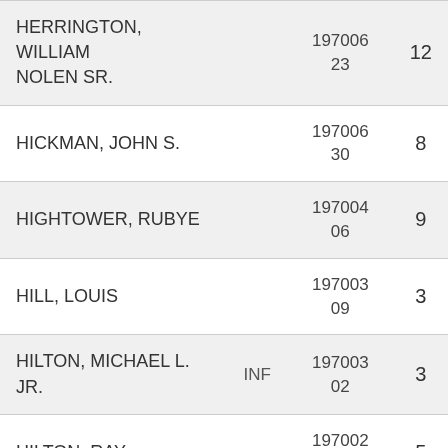| Name |  | Code | Number |
| --- | --- | --- | --- |
| HERRINGTON, WILLIAM NOLEN SR. |  | 197006 23 | 12 |
| HICKMAN, JOHN S. |  | 197006 30 | 8 |
| HIGHTOWER, RUBYE |  | 197004 06 | 9 |
| HILL, LOUIS |  | 197003 09 | 3 |
| HILTON, MICHAEL L. JR. | INF | 197003 02 | 3 |
| HILTON, RAY |  | 197002 07 | 5 |
| HOLLIS, MYRTLE |  | 1970011 5 | 10 |